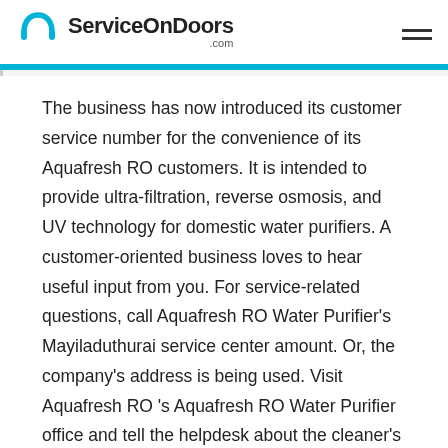ServiceOnDoors .com
The business has now introduced its customer service number for the convenience of its Aquafresh RO customers. It is intended to provide ultra-filtration, reverse osmosis, and UV technology for domestic water purifiers. A customer-oriented business loves to hear useful input from you. For service-related questions, call Aquafresh RO Water Purifier's Mayiladuthurai service center amount. Or, the company's address is being used. Visit Aquafresh RO 's Aquafresh RO Water Purifier office and tell the helpdesk about the cleaner's problems. You should dial Aquafresh RO 's Water Purifier contact number to know if there is any